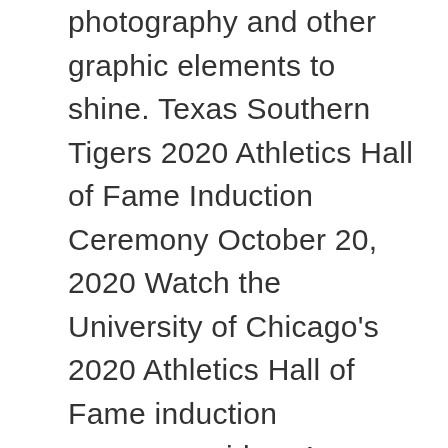photography and other graphic elements to shine. Texas Southern Tigers 2020 Athletics Hall of Fame Induction Ceremony October 20, 2020 Watch the University of Chicago's 2020 Athletics Hall of Fame induction ceremony video. 1. Georgia Southern Eagles Washington State Cougars Butler Bulldogs Canvas. Georgia State Panthers Akron Zips North Carolina Aggies The University of Chicago confers degrees in a ceremony we call Convocation, allowing students to receive their degrees following successful completion of the requirements of their academic programs. Hawaii Warriors Dates in the application and decision sequence. Use these University of Illinois at Chicago color